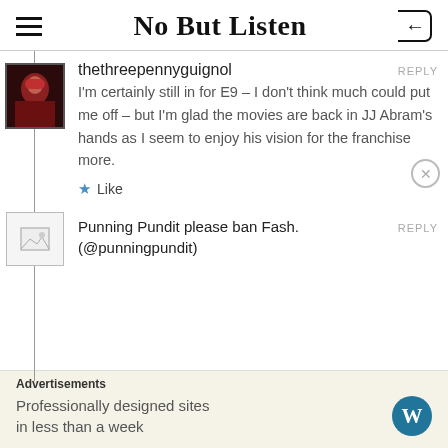No But Listen
[Figure (screenshot): User avatar photo showing a woman with red hair in a red dress]
thethreepennyguignol
REPLY
I'm certainly still in for E9 – I don't think much could put me off – but I'm glad the movies are back in JJ Abram's hands as I seem to enjoy his vision for the franchise more.
Like
[Figure (screenshot): Broken image placeholder for Punning Pundit avatar]
Punning Pundit please ban Fash. (@punningpundit)
REPLY
Advertisements
Professionally designed sites in less than a week